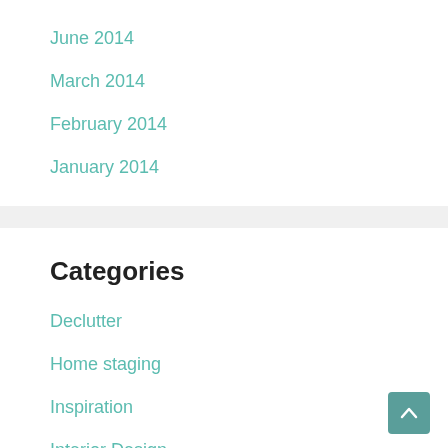June 2014
March 2014
February 2014
January 2014
Categories
Declutter
Home staging
Inspiration
Interior Design
Refresh
Refurbish